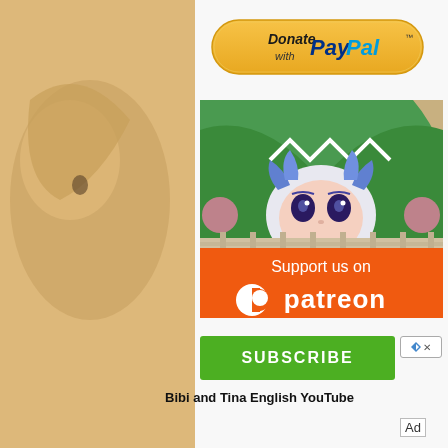[Figure (illustration): Anime-style webpage screenshot with a warm tan/peach background showing anime characters on left and right sides. Center white panel contains a PayPal donate button at top, a Patreon support banner with an anime girl character peeking over text, a green Subscribe button ad, and text 'Bibi and Tina English YouTube'. An 'Ad' label appears bottom right.]
Bibi and Tina English YouTube
Ad